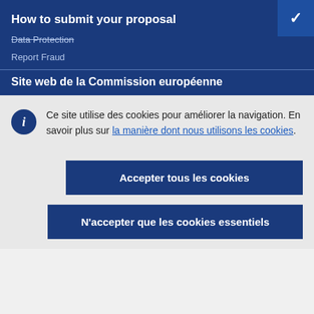How to submit your proposal
Data Protection
Report Fraud
Site web de la Commission européenne
Ce site utilise des cookies pour améliorer la navigation. En savoir plus sur la manière dont nous utilisons les cookies.
Accepter tous les cookies
N'accepter que les cookies essentiels